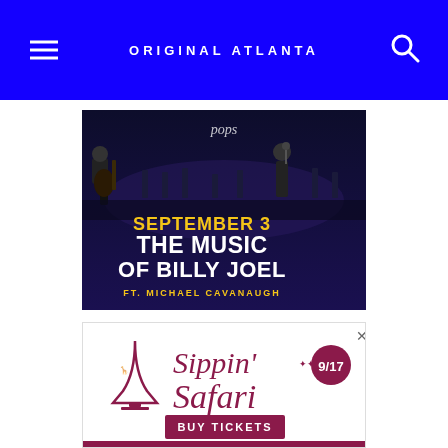ORIGINAL ATLANTA
[Figure (photo): Concert promotional image for The Music of Billy Joel featuring Michael Cavanaugh, showing musicians performing on stage with text: SEPTEMBER 3, THE MUSIC OF BILLY JOEL, FT. MICHAEL CAVANAUGH]
[Figure (photo): Advertisement for Sippin' Safari event on 9/17, featuring a wine glass illustration with animals, and a BUY TICKETS button]